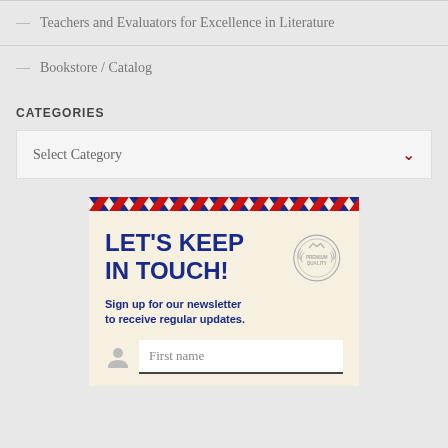— Teachers and Evaluators for Excellence in Literature
— Bookstore / Catalog
CATEGORIES
Select Category
[Figure (illustration): Newsletter sign-up card with air mail stripe header, 'LET'S KEEP IN TOUCH!' heading in navy blue, premium quality badge, subtitle 'Sign up for our newsletter to receive regular updates.', and a First name input field with user icon.]